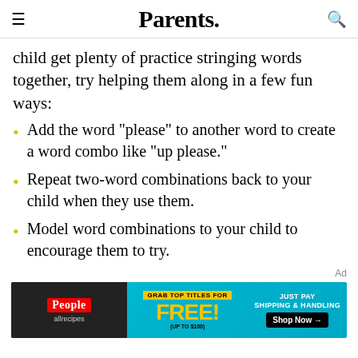Parents.
child get plenty of practice stringing words together, try helping them along in a few fun ways:
Add the word "please" to another word to create a word combo like "up please."
Repeat two-word combinations back to your child when they use them.
Model word combinations to your child to encourage them to try.
[Figure (other): Advertisement banner for magazine subscription offer: People, allrecipes. Grab top titles for FREE! (up to $100). Just pay shipping & handling. Shop Now button.]